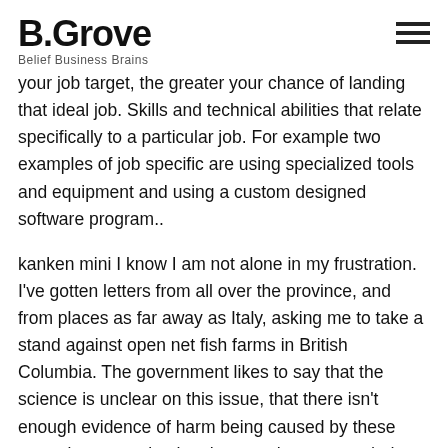B.Grove | Belief Business Brains
your job target, the greater your chance of landing that ideal job. Skills and technical abilities that relate specifically to a particular job. For example two examples of job specific are using specialized tools and equipment and using a custom designed software program..
kanken mini I know I am not alone in my frustration. I've gotten letters from all over the province, and from places as far away as Italy, asking me to take a stand against open net fish farms in British Columbia. The government likes to say that the science is unclear on this issue, that there isn't enough evidence of harm being caused by these operations to make the changes that are needed to preserve our wild salmon. kanken mini
cheap kanken Dix said that the Health Minister must admit